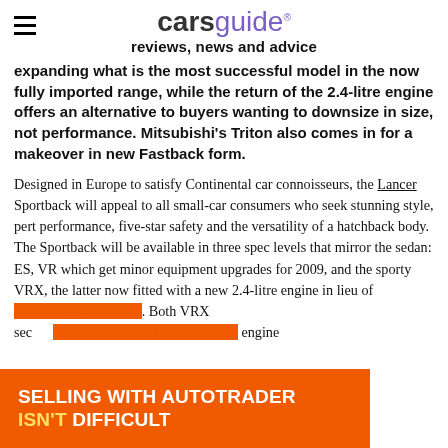carsguide reviews, news and advice
expanding what is the most successful model in the now fully imported range, while the return of the 2.4-litre engine offers an alternative to buyers wanting to downsize in size, not performance. Mitsubishi's Triton also comes in for a makeover in new Fastback form.
Designed in Europe to satisfy Continental car connoisseurs, the Lancer Sportback will appeal to all small-car consumers who seek stunning style, pert performance, five-star safety and the versatility of a hatchback body. The Sportback will be available in three spec levels that mirror the sedan: ES, VR which get minor equipment upgrades for 2009, and the sporty VRX, the latter now fitted with a new 2.4-litre engine in lieu of… Both VRX se… engine
[Figure (infographic): Orange advertisement banner reading SELLING WITH AUTOTRADER ISN'T DIFFICULT in bold white and yellow text]